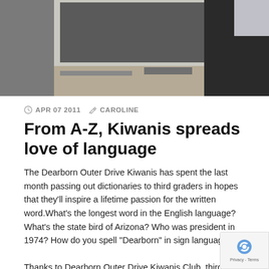[Figure (photo): Photograph of a person (partially visible, top cropped) standing in a classroom environment]
APR 07 2011   CAROLINE
From A-Z, Kiwanis spreads love of language
The Dearborn Outer Drive Kiwanis has spent the last month passing out dictionaries to third graders in hopes that they'll inspire a lifetime passion for the written word.What's the longest word in the English language? What's the state bird of Arizona? Who was president in 1974? How do you spell "Dearborn" in sign language?
Thanks to Dearborn Outer Drive Kiwanis Club, third graders in Dearborn Public Schools can now learn the answers to